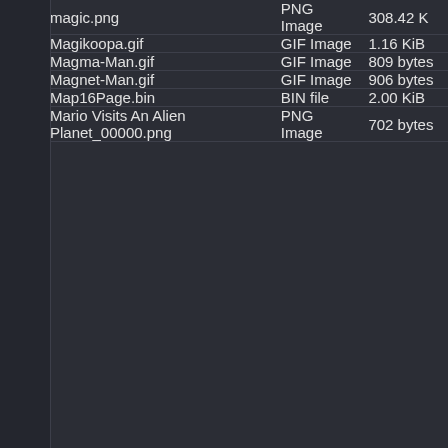| Name | Type | Size |
| --- | --- | --- |
| magic.png | PNG Image | 308.42 K |
| Magikoopa.gif | GIF Image | 1.16 KiB |
| Magma-Man.gif | GIF Image | 809 bytes |
| Magnet-Man.gif | GIF Image | 906 bytes |
| Map16Page.bin | BIN file | 2.00 KiB |
| Mario Visits An Alien Planet_00000.png | PNG Image | 702 bytes |